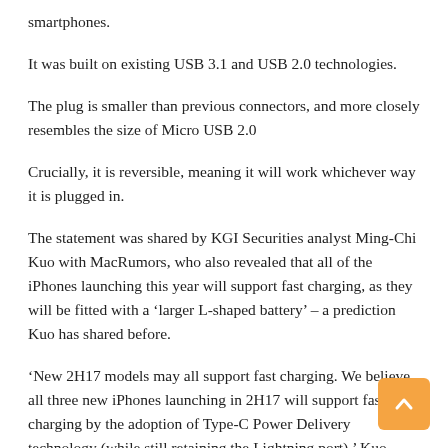smartphones.
It was built on existing USB 3.1 and USB 2.0 technologies.
The plug is smaller than previous connectors, and more closely resembles the size of Micro USB 2.0
Crucially, it is reversible, meaning it will work whichever way it is plugged in.
The statement was shared by KGI Securities analyst Ming-Chi Kuo with MacRumors, who also revealed that all of the iPhones launching this year will support fast charging, as they will be fitted with a ‘larger L-shaped battery’ – a prediction Kuo has shared before.
‘New 2H17 models may all support fast charging. We believe all three new iPhones launching in 2H17 will support fast charging by the adoption of Type-C Power Delivery technology (while still retaining the Lightning port),’ Kuo explained in a research note obtained by MacRumors.